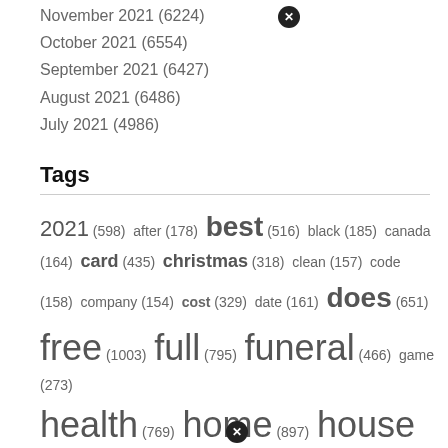November 2021 (6224)
October 2021 (6554)
September 2021 (6427)
August 2021 (6486)
July 2021 (4986)
Tags
2021 (598) after (178) best (516) black (185) canada (164) card (435) christmas (318) clean (157) code (158) company (154) cost (329) date (161) does (651) free (1003) full (795) funeral (466) game (273) health (769) home (897) house (894) ideas (1658) list (201) long (338) mobile (157)